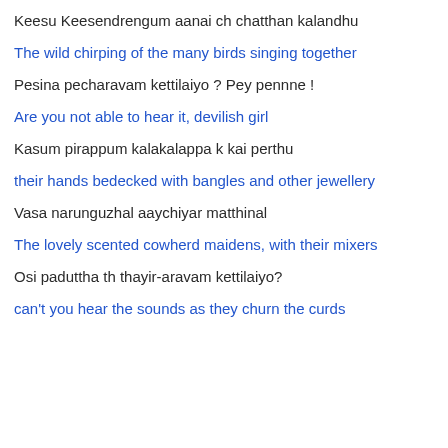Keesu Keesendrengum aanai ch chatthan kalandhu
The wild chirping of the many birds singing together
Pesina pecharavam kettilaiyo ? Pey pennne !
Are you not able to hear it, devilish girl
Kasum pirappum kalakalappa k kai perthu
their hands bedecked with bangles and other jewellery
Vasa narunguzhal aaychiyar matthinal
The lovely scented cowherd maidens, with their mixers
Osi paduttha th thayir-aravam kettilaiyo?
can't you hear the sounds as they churn the curds